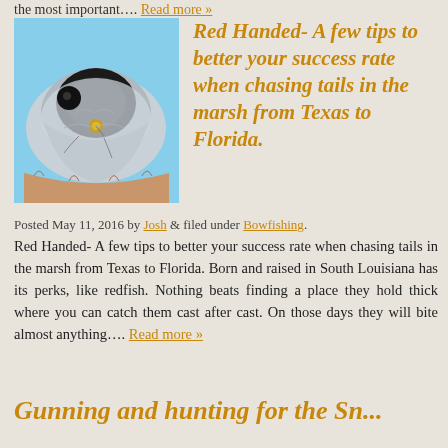the most important…. Read more »
[Figure (photo): Close-up photo of a redfish being held, mouth open showing inside, with a fishing lure/hook visible]
Red Handed- A few tips to better your success rate when chasing tails in the marsh from Texas to Florida.
Posted May 11, 2016 by Josh & filed under Bowfishing.
Red Handed- A few tips to better your success rate when chasing tails in the marsh from Texas to Florida. Born and raised in South Louisiana has its perks, like redfish. Nothing beats finding a place they hold thick where you can catch them cast after cast. On those days they will bite almost anything…. Read more »
Gunning and hunting for the Sn...